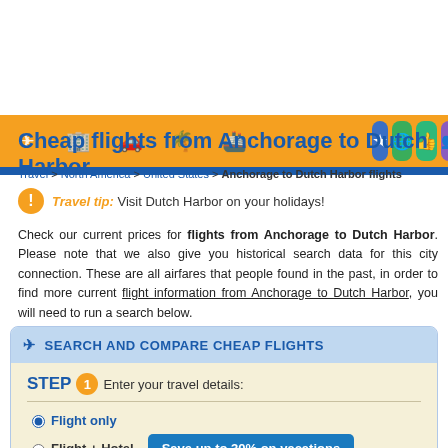[Figure (screenshot): Navigation bar with orange icons for flights, hotels, cars, holidays, trains; colored rounded icons for favorites, destinations, tips, groups, quotes, edit]
Cheap flights from Anchorage to Dutch Harbor
Travel > North America > United States > Anchorage to Dutch Harbor flights
Travel tip: Visit Dutch Harbor on your holidays!
Check our current prices for flights from Anchorage to Dutch Harbor. Please note that we also give you historical search data for this city connection. These are all airfares that people found in the past, in order to find more current flight information from Anchorage to Dutch Harbor, you will need to run a search below.
SEARCH AND COMPARE CHEAP FLIGHTS
STEP 1 Enter your travel details:
Flight only
Flight + Hotel  Save up to 30% on vacations